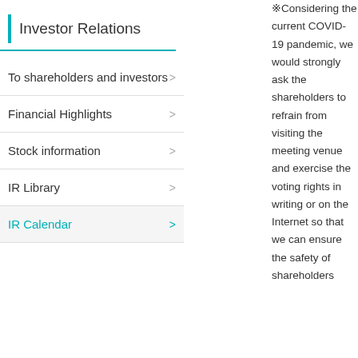Investor Relations
To shareholders and investors
Financial Highlights
Stock information
IR Library
IR Calendar
※Considering the current COVID-19 pandemic, we would strongly ask the shareholders to refrain from visiting the meeting venue and exercise the voting rights in writing or on the Internet so that we can ensure the safety of shareholders